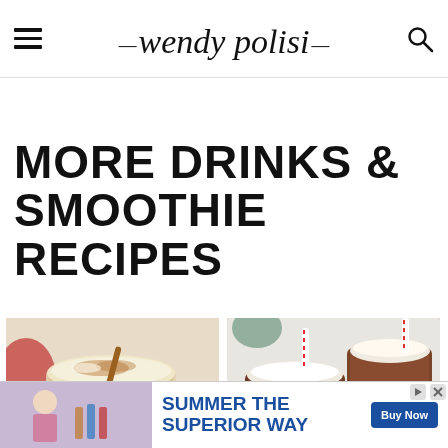wendy polisi
MORE DRINKS & SMOOTHIE RECIPES
[Figure (photo): A glass mug of a creamy latte or smoothie drink topped with whipped cream, cinnamon powder, and a cinnamon stick, with a red decoration in the background.]
[Figure (photo): Two glass mugs of hot chocolate topped with whipped cream and a red and white candy cane straw, on a dark circular coaster, with a holiday decoration in the background.]
[Figure (photo): Advertisement banner: Summer the Superior Way - Buy Now. Shows a person and bottles on the left side.]